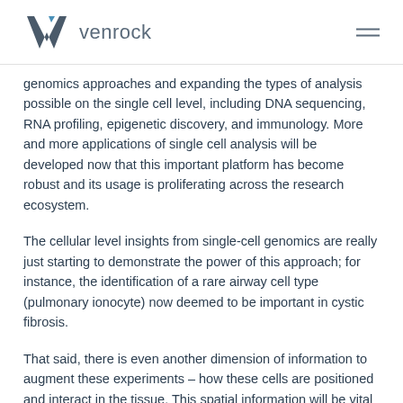venrock
genomics approaches and expanding the types of analysis possible on the single cell level, including DNA sequencing, RNA profiling, epigenetic discovery, and immunology. More and more applications of single cell analysis will be developed now that this important platform has become robust and its usage is proliferating across the research ecosystem.
The cellular level insights from single-cell genomics are really just starting to demonstrate the power of this approach; for instance, the identification of a rare airway cell type (pulmonary ionocyte) now deemed to be important in cystic fibrosis.
That said, there is even another dimension of information to augment these experiments – how these cells are positioned and interact in the tissue. This spatial information will be vital to understanding